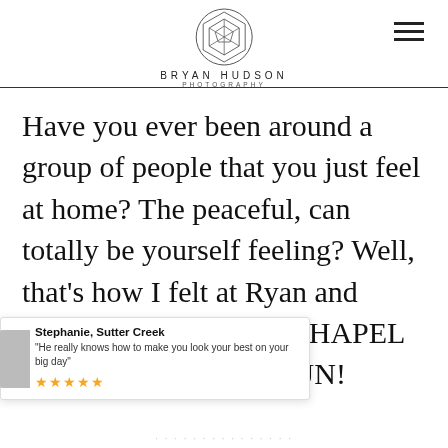[Figure (logo): Bryan Hudson Photography geometric logo — a circle containing a polyhedron/gem shape made of triangles and lines, with the text BRYAN HUDSON above and PHOTOGRAPHY below in spaced sans-serif capitals.]
Have you ever been around a group of people that you just feel at home? The peaceful, can totally be yourself feeling? Well, that’s how I felt at Ryan and Trents WAYFARERS CHAPEL PALOS It was much FUN!
Stephanie, Sutter Creek
“He really knows how to make you look your best on your big day”
★★★★★